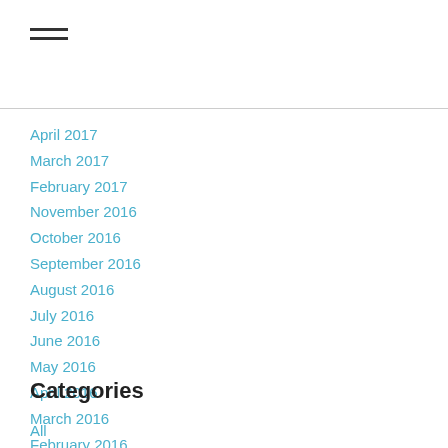April 2017
March 2017
February 2017
November 2016
October 2016
September 2016
August 2016
July 2016
June 2016
May 2016
April 2016
March 2016
February 2016
January 2016
Categories
All